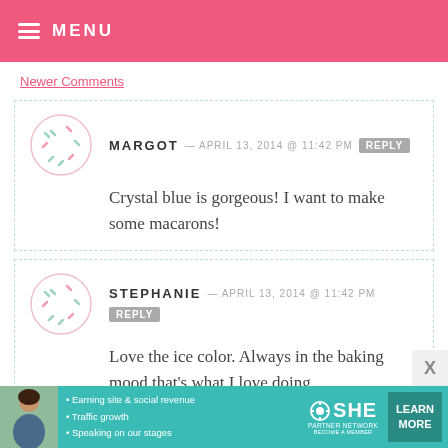MENU
Newer Comments
MARGOT — APRIL 13, 2014 @ 11:42 PM  REPLY
Crystal blue is gorgeous! I want to make some macarons!
STEPHANIE — APRIL 13, 2014 @ 11:42 PM  REPLY
Love the ice color. Always in the baking mood that's what I love doing.
[Figure (infographic): SHE Partner Network advertisement banner with photo of woman, bullet points about earning site & social revenue, traffic growth, speaking on our stages, SHE Partner Network logo, and LEARN MORE button]